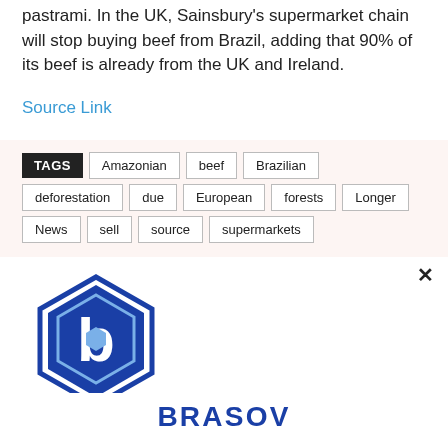pastrami. In the UK, Sainsbury's supermarket chain will stop buying beef from Brazil, adding that 90% of its beef is already from the UK and Ireland.
Source Link
TAGS: Amazonian, beef, Brazilian, deforestation, due, European, forests, Longer, News, sell, source, supermarkets
[Figure (logo): Brasov logo - blue hexagon with letter b inside and BRASOV text below]